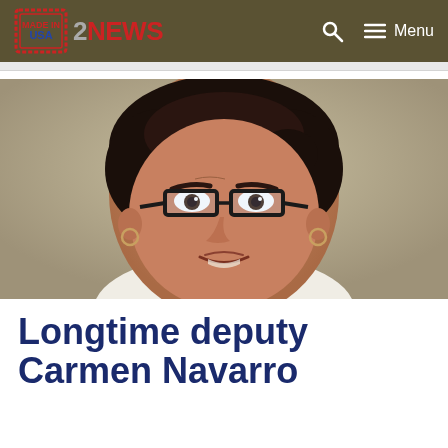2NEWS — Menu
[Figure (photo): Close-up photo of a woman with dark hair pulled back, wearing rectangular glasses and small hoop earrings, slight smile, against a neutral background.]
Longtime deputy Carmen Navarro